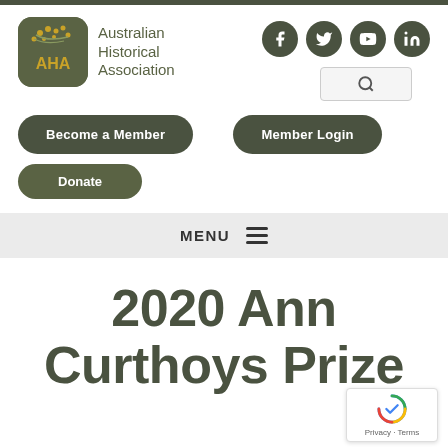[Figure (logo): Australian Historical Association logo with AHA text and wattle branch icon on dark olive green rounded square, with organization name 'Australian Historical Association' beside it]
[Figure (infographic): Social media icons for Facebook, Twitter, YouTube, and LinkedIn in dark olive green circles, plus a search box with magnifying glass icon]
Become a Member
Member Login
Donate
MENU
2020 Ann Curthoys Prize